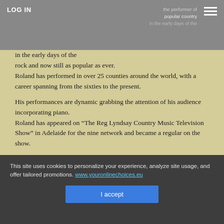LOG IN
in the early days of the rock and now still as popular as ever.
Roland has performed in over 25 counties around the world, with a career spanning from the sixties to the present.

His performances are dynamic grabbing the attention of his audience incorporating piano.
Roland has appeared on “The Reg Lyndsay Country Music Television Show” in Adelaide for the nine network and became a regular on the show.

Awards include:

South Australia Country Music Hands of Fame – 200
Wintersun Hall of Fame – 2001
Rockabilly Records Best Selling Artist – 1996
Gold International Sales – “Rolling With The Flow” – 1992
Bunyip Records Artist of The Year – 1987
This site uses cookies to personalize your experience, analyze site usage, and offer tailored promotions. www.youronlinechoices.eu